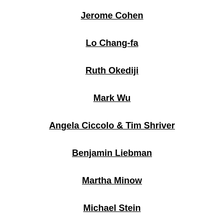Jerome Cohen
Lo Chang-fa
Ruth Okediji
Mark Wu
Angela Ciccolo & Tim Shriver
Benjamin Liebman
Martha Minow
Michael Stein